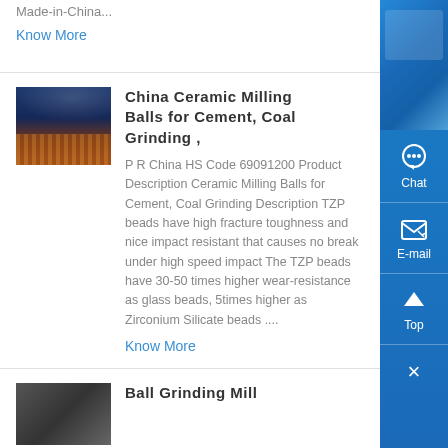Made-in-China...
Know More
China Ceramic Milling Balls for Cement, Coal Grinding ,
P R China HS Code 69091200 Product Description Ceramic Milling Balls for Cement, Coal Grinding Description TZP beads have high fracture toughness and nice impact resistant that causes no break under high speed impact The TZP beads have 30-50 times higher wear-resistance as glass beads, 5times higher as Zirconium Silicate beads ....
Know More
Ball Grinding Mill
[Figure (photo): Industrial facility interior showing rows of ceramic/orange milling media under stadium lighting]
[Figure (photo): Ball grinding mill equipment, partially visible at bottom]